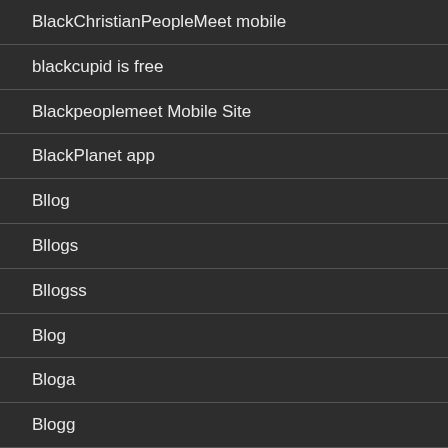BlackChristianPeopleMeet mobile
blackcupid is free
Blackpeoplemeet Mobile Site
BlackPlanet app
Bllog
Bllogs
Bllogss
Blog
Bloga
Blogg
Blogl